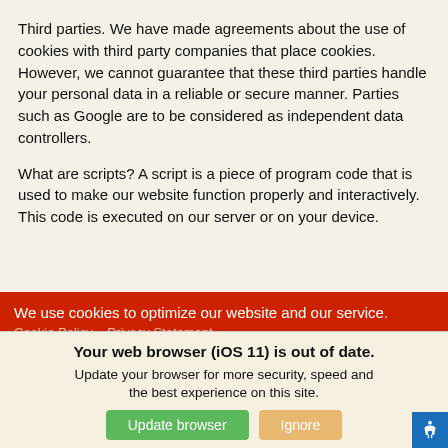Third parties. We have made agreements about the use of cookies with third party companies that place cookies. However, we cannot guarantee that these third parties handle your personal data in a reliable or secure manner. Parties such as Google are to be considered as independent data controllers.
What are scripts? A script is a piece of program code that is used to make our website function properly and interactively. This code is executed on our server or on your device.
We use cookies to optimize our website and our service.
Cookie Policy   Privacy Statement
Your web browser (iOS 11) is out of date. Update your browser for more security, speed and the best experience on this site.